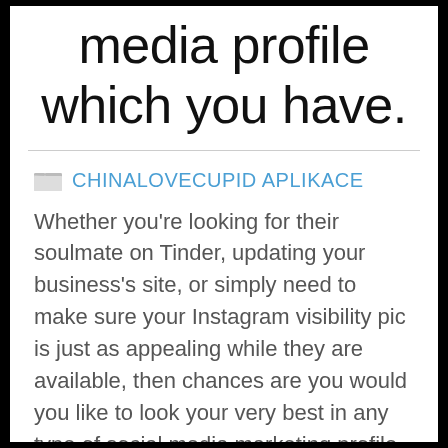media profile which you have.
CHINALOVECUPID APLIKACE
Whether you're looking for their soulmate on Tinder, updating your business's site, or simply need to make sure your Instagram visibility pic is just as appealing while they are available, then chances are you would you like to look your very best in any type of social media marketing profile that you have.
There is a great deal of suggestions